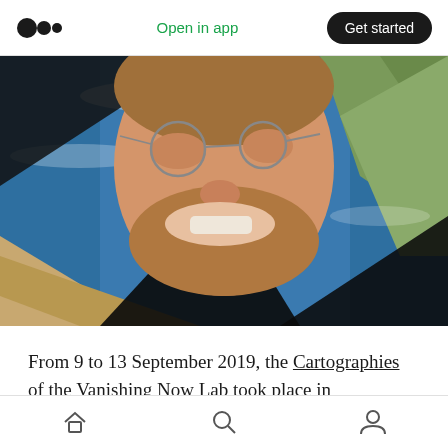Medium logo | Open in app | Get started
[Figure (photo): Composite image of a smiling bearded man with glasses, overlaid on a satellite/aerial photograph of Earth showing continents and oceans, with dark triangular geometric cuts creating a collage effect.]
From 9 to 13 September 2019, the Cartographies of the Vanishing Now Lab took place in Amsterdam, organised by FIBER Festival. This
Home | Search | Profile navigation icons